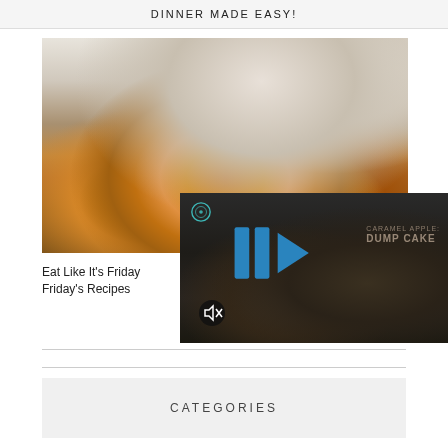DINNER MADE EASY!
[Figure (photo): Close-up photo of breaded, golden-brown baked food (likely chicken or fish) with a white ramekin/bowl in the background]
[Figure (photo): Video overlay showing a dark dessert in a bowl, with blue play chevrons, Streamable icon, text reading CARAMEL APPLE DUMP CAKE, and a mute button]
Eat Like It's Friday Friday's Recipes
CATEGORIES